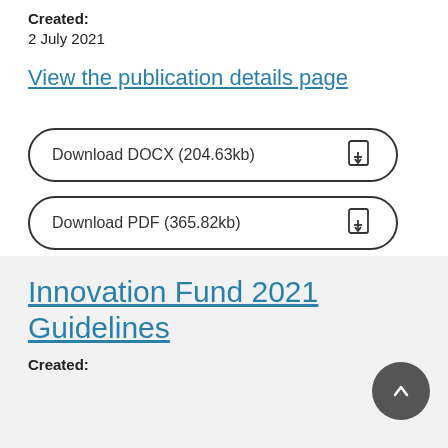Created:
2 July 2021
View the publication details page
Download DOCX (204.63kb)
Download PDF (365.82kb)
Innovation Fund 2021 Guidelines
Created: